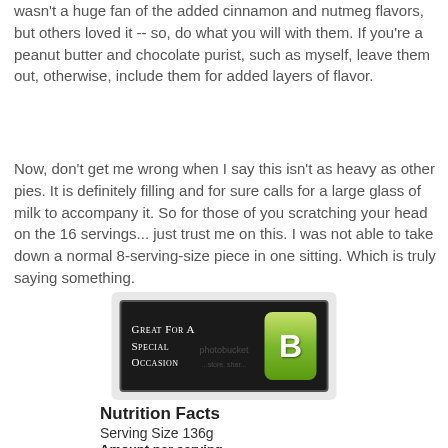wasn't a huge fan of the added cinnamon and nutmeg flavors, but others loved it -- so, do what you will with them. If you're a peanut butter and chocolate purist, such as myself, leave them out, otherwise, include them for added layers of flavor.
Now, don't get me wrong when I say this isn't as heavy as other pies. It is definitely filling and for sure calls for a large glass of milk to accompany it. So for those of you scratching your head on the 16 servings... just trust me on this. I was not able to take down a normal 8-serving-size piece in one sitting. Which is truly saying something.
[Figure (other): A rating badge with black background showing 'Great For A Special Occasion' text on left and a green badge with letter B on right, with a photobucket watermark overlay.]
Nutrition Facts
Serving Size 136g
Amount per serving